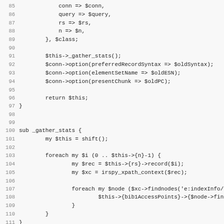Code listing lines 85-116 showing Perl subroutines _gather_stats and print()